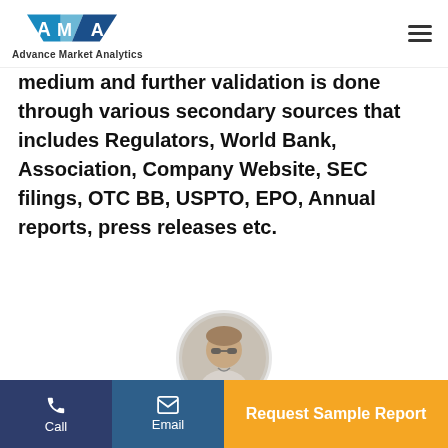Advance Market Analytics
medium and further validation is done through various secondary sources that includes Regulators, World Bank, Association, Company Website, SEC filings, OTC BB, USPTO, EPO, Annual reports, press releases etc.
[Figure (photo): Circular profile photo of Craig Francis, a person wearing sunglasses and a white outfit]
Craig Francis